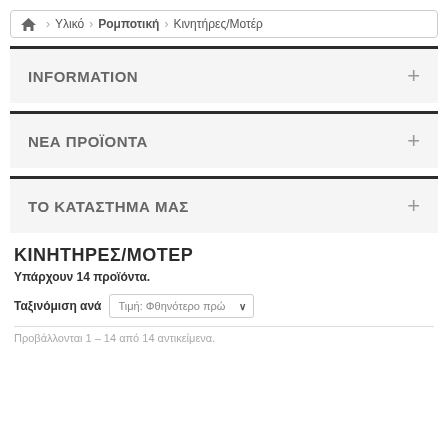🏠 Υλικό > Ρομποτική > Κινητήρες/Μοτέρ
INFORMATION
ΝΕΑ ΠΡΟΪΟΝΤΑ
ΤΟ ΚΑΤΑΣΤΗΜΑ ΜΑΣ
ΚΙΝΗΤΗΡΕΣ/ΜΟΤΕΡ
Υπάρχουν 14 προϊόντα.
Ταξινόμιση ανά  Τιμή: Φθηνότερο πρώ...
Προβάλλονται 1 – 14 από 14 αντικείμενα.